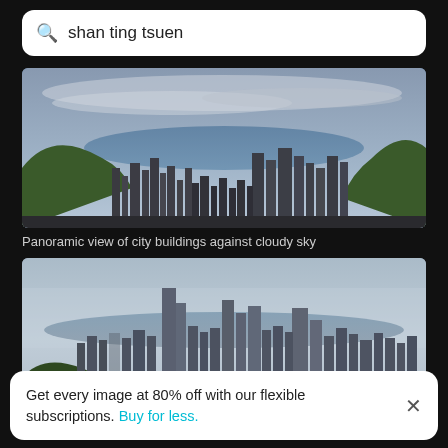shan ting tsuen
[Figure (photo): Panoramic view of Hong Kong city skyline with skyscrapers, harbor, and cloudy sky viewed from elevated position]
Panoramic view of city buildings against cloudy sky
[Figure (photo): Aerial view of Hong Kong skyline with dense skyscrapers, harbor, and a person visible at the bottom of the frame]
Get every image at 80% off with our flexible subscriptions. Buy for less.